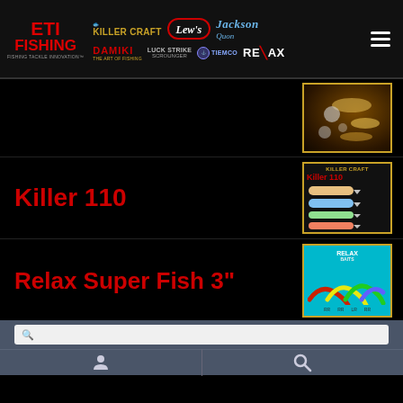ETI FISHING - Killer Craft, Lew's, Jackson, Quon, Damiki, Luck Strike, Scrounger, Tiemco, Relax
[Figure (photo): Product thumbnail showing various fishing lures/spinners on dark background]
Killer 110
[Figure (photo): Killer 110 product image showing fishing crankbait lures in various colors]
Relax Super Fish 3"
[Figure (photo): Relax Super Fish 3 inch soft plastic lures in various colors on cyan background]